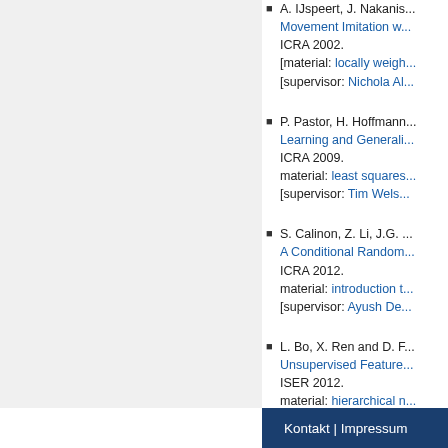A. IJspeert, J. Nakanishi... Movement Imitation w... ICRA 2002. [material: locally weigh... [supervisor: Nichola Al...
P. Pastor, H. Hoffmann... Learning and Generali... ICRA 2009. material: least squares... [supervisor: Tim Wels...
S. Calinon, Z. Li, J.G. ... A Conditional Random... ICRA 2012. material: introduction t... [supervisor: Ayush De...
L. Bo, X. Ren and D. F... Unsupervised Feature... ISER 2012. material: hierarchical n... [supervisor: Ayush De...
Kontakt | Impressum